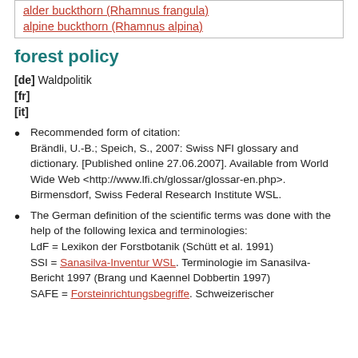alder buckthorn (Rhamnus frangula)
alpine buckthorn (Rhamnus alpina)
forest policy
[de] Waldpolitik
[fr]
[it]
Recommended form of citation: Brändli, U.-B.; Speich, S., 2007: Swiss NFI glossary and dictionary. [Published online 27.06.2007]. Available from World Wide Web <http://www.lfi.ch/glossar/glossar-en.php>. Birmensdorf, Swiss Federal Research Institute WSL.
The German definition of the scientific terms was done with the help of the following lexica and terminologies: LdF = Lexikon der Forstbotanik (Schütt et al. 1991) SSI = Sanasilva-Inventur WSL. Terminologie im Sanasilva-Bericht 1997 (Brang und Kaennel Dobbertin 1997) SAFE = Forsteinrichtungsbegriffe. Schweizerischer